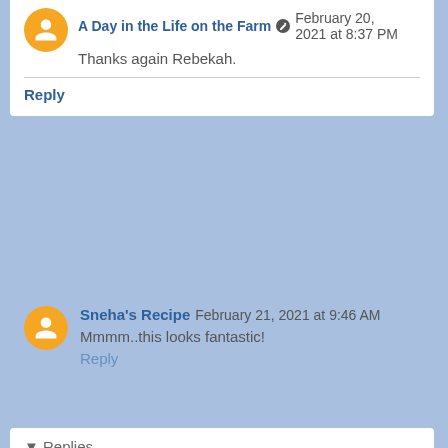A Day in the Life on the Farm  February 20, 2021 at 8:37 PM
Thanks again Rebekah.
Reply
Sneha's Recipe  February 21, 2021 at 9:46 AM
Mmmm..this looks fantastic!
Reply
▾ Replies
A Day in the Life on the Farm  February 21, 2021 at 9:47 AM
Thanks Sneha.
Reply